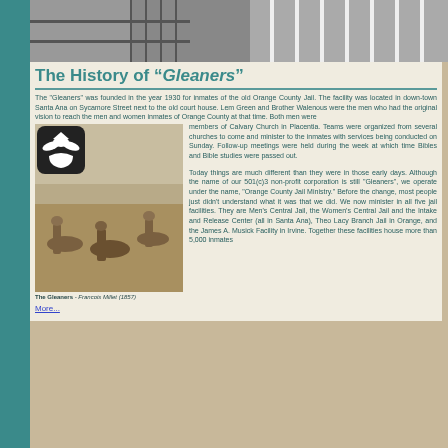[Figure (photo): Black and white photo of a prison corridor with bars, used as page header]
The History of "Gleaners"
The "Gleaners" was founded in the year 1930 for inmates of the old Orange County Jail. The facility was located in down-town Santa Ana on Sycamore Street next to the old court house. Lem Green and Brother Walenous were the men who had the original vision to reach the men and women inmates of Orange County at that time. Both men were members of Calvary Church in Placentia. Teams were organized from several churches to come and minister to the inmates with services being conducted on Sunday. Follow-up meetings were held during the week at which time Bibles and Bible studies were passed out.

Today things are much different than they were in those early days. Although the name of our 501(c)3 non-profit corporation is still "Gleaners", we operate under the name, "Orange County Jail Ministry." Before the change, most people just didn't understand what it was that we did. We now minister in all five jail facilities. They are Men's Central Jail, the Women's Central Jail and the Intake and Release Center (all in Santa Ana), Theo Lacy Branch Jail in Orange, and the James A. Musick Facility in Irvine. Together these facilities house more than 5,000 inmates
[Figure (photo): Black and white painting/photo 'The Gleaners' by Francois Millet (1857) showing people bent over gleaning in a field, with a logo overlay of hands holding a dove]
The Gleaners - Francois Millet (1857)
More...